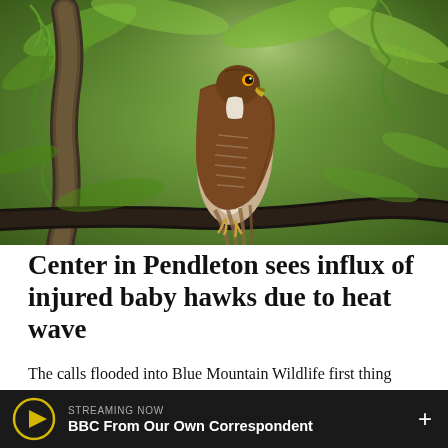[Figure (photo): A hawk perched on a dark branch surrounded by lush green fern-like foliage. The bird has brown and white striped plumage with a darker back and a sharp beak, photographed in natural light against a green leafy background.]
Center in Pendleton sees influx of injured baby hawks due to heat wave
The calls flooded into Blue Mountain Wildlife first thing Monday, June 28 because dozens of baby hawks, desperate to escape the blast of early summer heat, bailed from their nests and plummeted to the ground.
STREAMING NOW
BBC From Our Own Correspondent